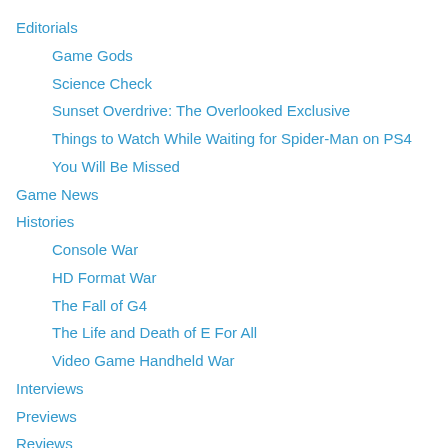Editorials
Game Gods
Science Check
Sunset Overdrive: The Overlooked Exclusive
Things to Watch While Waiting for Spider-Man on PS4
You Will Be Missed
Game News
Histories
Console War
HD Format War
The Fall of G4
The Life and Death of E For All
Video Game Handheld War
Interviews
Previews
Reviews
Site News
Site Videos
Date Nite